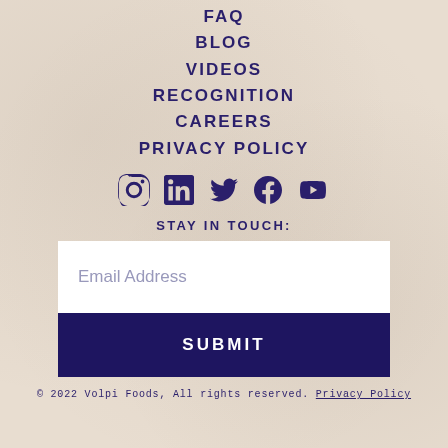FAQ
BLOG
VIDEOS
RECOGNITION
CAREERS
PRIVACY POLICY
[Figure (infographic): Social media icons: Instagram, LinkedIn, Twitter, Facebook, YouTube]
STAY IN TOUCH:
Email Address
SUBMIT
© 2022 Volpi Foods, All rights reserved. Privacy Policy